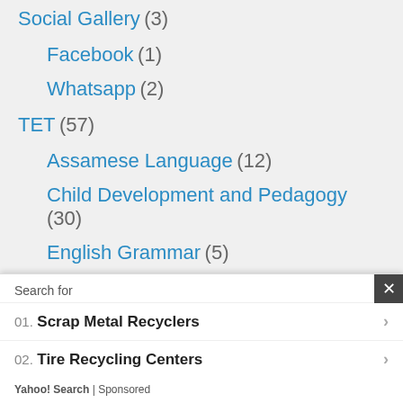Social Gallery (3)
Facebook (1)
Whatsapp (2)
TET (57)
Assamese Language (12)
Child Development and Pedagogy (30)
English Grammar (5)
Environmental Studies (6)
Objective Type Questions (14)
Search for
01. Scrap Metal Recyclers
02. Tire Recycling Centers
Yahoo! Search | Sponsored